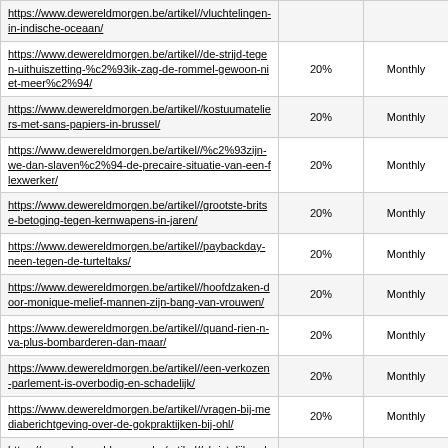| URL | Percentage | Frequency |
| --- | --- | --- |
| https://www.dewereldmorgen.be/artikel//vluchtelingen-in-indische-oceaan/ | 20% | Monthly |
| https://www.dewereldmorgen.be/artikel//de-strijd-tegen-uithuiszetting-%c2%93ik-zag-de-rommel-gewoon-niet-meer%c2%94/ | 20% | Monthly |
| https://www.dewereldmorgen.be/artikel//kostuumateliers-met-sans-papiers-in-brussel/ | 20% | Monthly |
| https://www.dewereldmorgen.be/artikel//%c2%93zijn-we-dan-slaven%c2%94-de-precaire-situatie-van-een-flexwerker/ | 20% | Monthly |
| https://www.dewereldmorgen.be/artikel//grootste-britse-betoging-tegen-kernwapens-in-jaren/ | 20% | Monthly |
| https://www.dewereldmorgen.be/artikel//paybackday-neen-tegen-de-turteltaks/ | 20% | Monthly |
| https://www.dewereldmorgen.be/artikel//hoofdzaken-door-monique-melief-mannen-zijn-bang-van-vrouwen/ | 20% | Monthly |
| https://www.dewereldmorgen.be/artikel//quand-rien-n-va-plus-bombarderen-dan-maar/ | 20% | Monthly |
| https://www.dewereldmorgen.be/artikel//een-verkozen-parlement-is-overbodig-en-schadelijk/ | 20% | Monthly |
| https://www.dewereldmorgen.be/artikel//vragen-bij-mediaberichtgeving-over-de-gokpraktijken-bij-ohl/ | 20% | Monthly |
| https://www.dewereldmorgen.be/artikel//christelijke-ubermenschen-terroriseren-de-rest-van-de-wereld-sinds-eeuwen/ | 20% | Monthly |
| https://www.dewereldmorgen.be/artikel//democratische-strijd-ver-van-over-na-south-carolina/ | 20% | Monthly |
| https://www.dewereldmorgen.be/artikel//over-kantelmomenten-en-de-intrusie-van-gaia/ | 20% | Monthly |